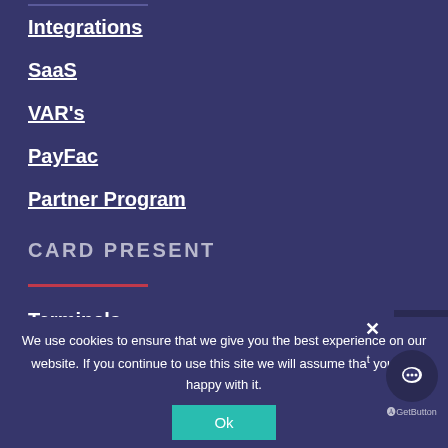Integrations
SaaS
VAR's
PayFac
Partner Program
CARD PRESENT
Terminals
We use cookies to ensure that we give you the best experience on our website. If you continue to use this site we will assume that you are happy with it.